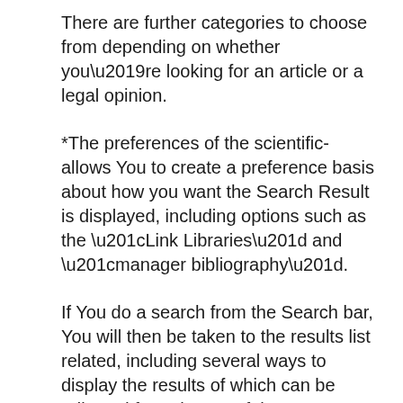There are further categories to choose from depending on whether you’re looking for an article or a legal opinion.
*The preferences of the scientific-allows You to create a preference basis about how you want the Search Result is displayed, including options such as the “Link Libraries” and “manager bibliography”.
If You do a search from the Search bar, You will then be taken to the results list related, including several ways to display the results of which can be adjusted from the top of the page.
Each entry in the results list is a hyperlink to the original text, the name of the author and